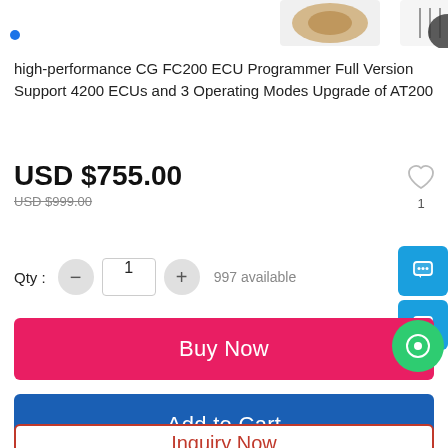[Figure (photo): Partial product images showing ECU programmer device at top of page]
high-performance CG FC200 ECU Programmer Full Version Support 4200 ECUs and 3 Operating Modes Upgrade of AT200
USD $755.00
USD $999.00
Qty : 1  997 available
Buy Now
Add to Cart
Inquiry Now